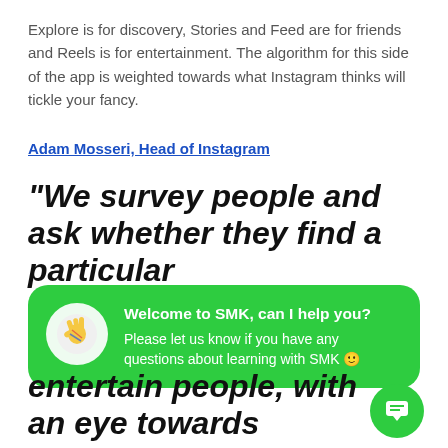Explore is for discovery, Stories and Feed are for friends and Reels is for entertainment. The algorithm for this side of the app is weighted towards what Instagram thinks will tickle your fancy.
Adam Mosseri, Head of Instagram
"We survey people and ask whether they find a particular entertain people, with an eye towards smaller creators.
[Figure (infographic): Green chat bubble popup with waving hand icon. Title: 'Welcome to SMK, can I help you?' Body: 'Please let us know if you have any questions about learning with SMK 🙂'. Green circular FAB button with chat icon in bottom right.]